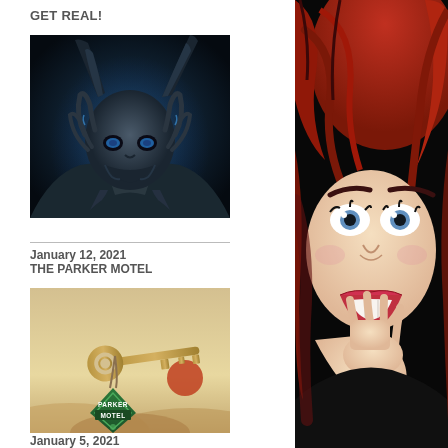GET REAL!
[Figure (illustration): Dark fantasy illustration of a horned beast/demon creature with glowing blue accents, shown from shoulders up against a dark blue background]
January 12, 2021
THE PARKER MOTEL
[Figure (illustration): Stylized retro illustration of a motel key with a green diamond-shaped keychain tag reading 'PARKER MOTEL' attached to a room key, with warm desert-toned background]
January 5, 2021
LOOK WHAT JUST DROVE IN
[Figure (illustration): Close-up pop-art style illustration of a red-haired woman with wide blue eyes and bright red lips, appearing shocked or surprised, hand raised to her chin, against dark background]